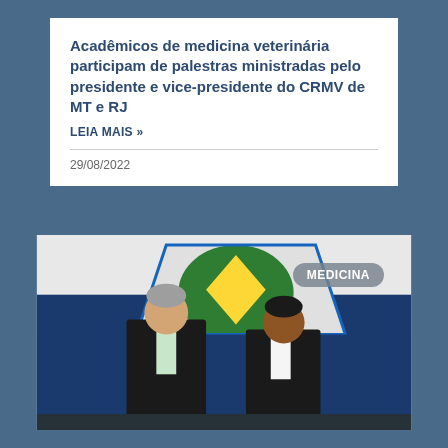Acadêmicos de medicina veterinária participam de palestras ministradas pelo presidente e vice-presidente do CRMV de MT e RJ
LEIA MAIS »
29/08/2022
[Figure (photo): Two men in suits standing in front of a flag with a green circle and yellow star (Mato Grosso state flag). A badge in the upper right reads 'MEDICINA'.]